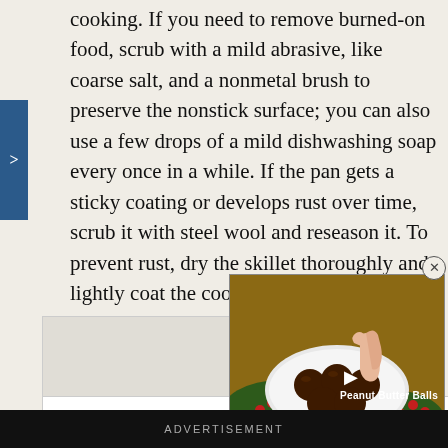cooking. If you need to remove burned-on food, scrub with a mild abrasive, like coarse salt, and a nonmetal brush to preserve the nonstick surface; you can also use a few drops of a mild dishwashing soap every once in a while. If the pan gets a sticky coating or develops rust over time, scrub it with steel wool and reseason it. To prevent rust, dry the skillet thoroughly and lightly coat the cooking surface with cooking oil. Cover with a paper towel to protect it from dust.
[Figure (photo): Video thumbnail showing a hand picking up a chocolate peanut butter ball from a white decorative plate surrounded by holly and red berries. Text overlay reads 'Peanut Butter Balls'.]
ADVERTISEMENT